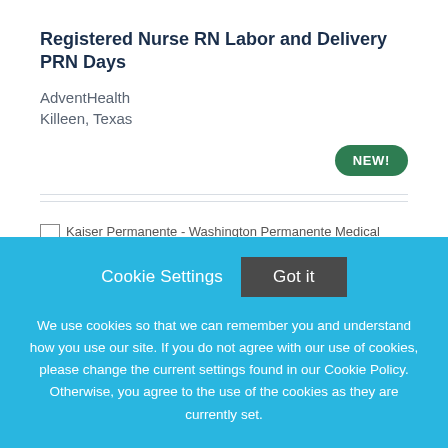Registered Nurse RN Labor and Delivery PRN Days
AdventHealth
Killeen, Texas
[Figure (other): NEW! badge — green rounded pill button]
[Figure (other): Broken image placeholder for Kaiser Permanente - Washington Permanente Medical]
Cookie Settings   Got it
We use cookies so that we can remember you and understand how you use our site. If you do not agree with our use of cookies, please change the current settings found in our Cookie Policy. Otherwise, you agree to the use of the cookies as they are currently set.